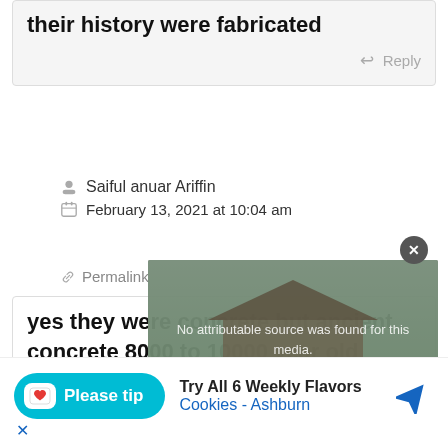all the people there are pure actors and their history were fabricated
Reply
Saiful anuar Ariffin
February 13, 2021 at 10:04 am
Permalink
[Figure (screenshot): Overlaid popup showing an image of a Chinese-style building/garden with a large X button to close, and error text 'No attributable source was found for this media.']
yes they were concrete but ancient concrete 8000 to 10000 year old concrete the theory posits that the pyramid was made using high
[Figure (infographic): Advertisement bar at the bottom showing a 'Please tip' button and 'Try All 6 Weekly Flavors Cookies - Ashburn' ad with map icon]